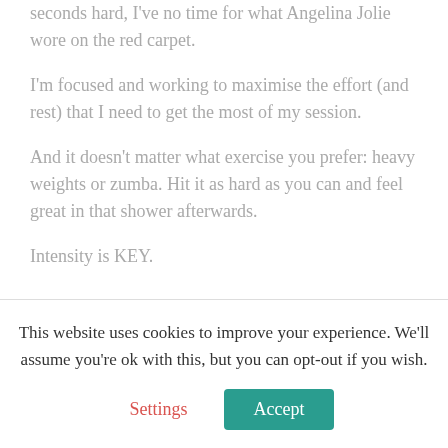seconds hard, I've no time for what Angelina Jolie wore on the red carpet.
I'm focused and working to maximise the effort (and rest) that I need to get the most of my session.
And it doesn't matter what exercise you prefer: heavy weights or zumba. Hit it as hard as you can and feel great in that shower afterwards.
Intensity is KEY.
This website uses cookies to improve your experience. We'll assume you're ok with this, but you can opt-out if you wish.
Settings
Accept